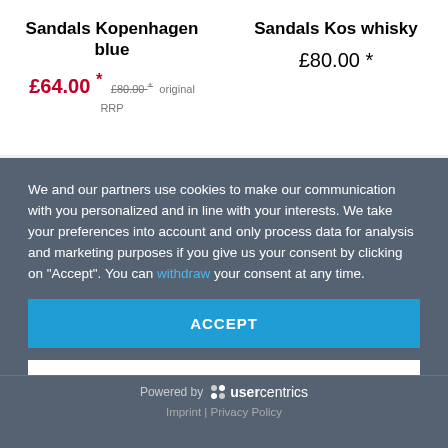Sandals Kopenhagen blue
£64.00 * £80.00 original RRP
Sandals Kos whisky
£80.00 *
We and our partners use cookies to make our communication with you personalized and in line with your interests. We take your preferences into account and only process data for analysis and marketing purposes if you give us your consent by clicking on "Accept". You can withdraw your consent at any time.
ACCEPT
SHOW DETAILS
Powered by usercentrics
Imprint | Privacy Policy